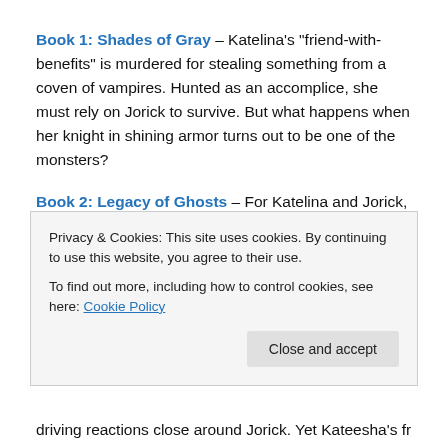Book 1: Shades of Gray – Katelina's "friend-with-benefits" is murdered for stealing something from a coven of vampires. Hunted as an accomplice, she must rely on Jorick to survive. But what happens when her knight in shining armor turns out to be one of the monsters?
Book 2: Legacy of Ghosts – For Katelina and Jorick, peace is hard to come by. Kateesha plans to fight the same battle as Jorick's fledgling, but a common enemy...
Privacy & Cookies: This site uses cookies. By continuing to use this website, you agree to their use.
To find out more, including how to control cookies, see here: Cookie Policy
Close and accept
...bringing reactions close around Jorick. Yet Kateesha's friend all...